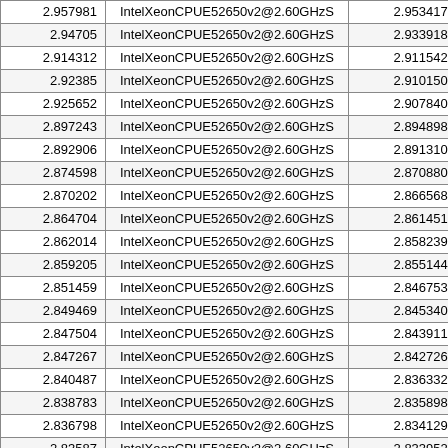|  |  |  |  |
| --- | --- | --- | --- |
| 2.957981 | IntelXeonCPUE52650v2@2.60GHzS | 2.9534170 | 0. |
| 2.94705 | IntelXeonCPUE52650v2@2.60GHzS | 2.9339180 | 0. |
| 2.914312 | IntelXeonCPUE52650v2@2.60GHzS | 2.9115420 | 0. |
| 2.92385 | IntelXeonCPUE52650v2@2.60GHzS | 2.9101500 | 0. |
| 2.925652 | IntelXeonCPUE52650v2@2.60GHzS | 2.9078400 | 0. |
| 2.897243 | IntelXeonCPUE52650v2@2.60GHzS | 2.8948980 | 0. |
| 2.892906 | IntelXeonCPUE52650v2@2.60GHzS | 2.8913100 | 0. |
| 2.874598 | IntelXeonCPUE52650v2@2.60GHzS | 2.8708800 | 0. |
| 2.870202 | IntelXeonCPUE52650v2@2.60GHzS | 2.8665680 | 0. |
| 2.864704 | IntelXeonCPUE52650v2@2.60GHzS | 2.8614510 | 0. |
| 2.862014 | IntelXeonCPUE52650v2@2.60GHzS | 2.8582390 | 0. |
| 2.859205 | IntelXeonCPUE52650v2@2.60GHzS | 2.8551440 | 0. |
| 2.851459 | IntelXeonCPUE52650v2@2.60GHzS | 2.8467530 | 0. |
| 2.849469 | IntelXeonCPUE52650v2@2.60GHzS | 2.8453400 | 0. |
| 2.847504 | IntelXeonCPUE52650v2@2.60GHzS | 2.8439110 | 0. |
| 2.847267 | IntelXeonCPUE52650v2@2.60GHzS | 2.8427260 | 0. |
| 2.840487 | IntelXeonCPUE52650v2@2.60GHzS | 2.8363320 | 0. |
| 2.838783 | IntelXeonCPUE52650v2@2.60GHzS | 2.8358980 | 0. |
| 2.836798 | IntelXeonCPUE52650v2@2.60GHzS | 2.8341290 | 0. |
| 2.83587 | IntelXeonCPUE52650v2@2.60GHzS | 2.8339520 | 0. |
| 2.844953 | IntelXeonCPUE52650v2@2.60GHzS | 2.8315370 | 0. |
| 2.826618 | IntelXeonCPUE52650v2@2.60GHzS | 2.8226810 | 0. |
| 2.812436 | IntelXeonCPUE52650v2@2.60GHzS | 2.8103820 | 0. |
| 2.806866 | IntelXeonCPUE52650v2@2.60GHzS | 2.8054740 | 0. |